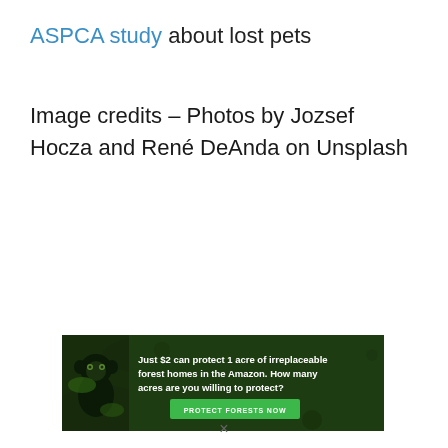ASPCA study about lost pets
Image credits – Photos by Jozsef Hocza and René DeAnda on Unsplash
[Figure (other): Advertisement banner with dark forest background and monkey image. Text reads: 'Just $2 can protect 1 acre of irreplaceable forest homes in the Amazon. How many acres are you willing to protect?' with a green button labeled 'PROTECT FORESTS NOW']
×